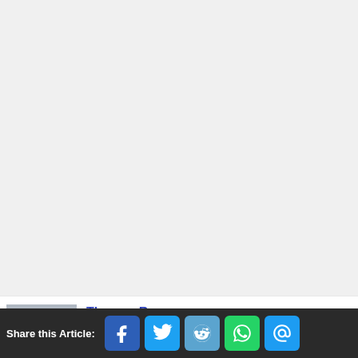[Figure (photo): Large light gray image placeholder occupying the upper portion of the page]
Thomas Ray
A level 25 Paladin who has traveled in the TARDIS and gone on adventures
Share this Article: